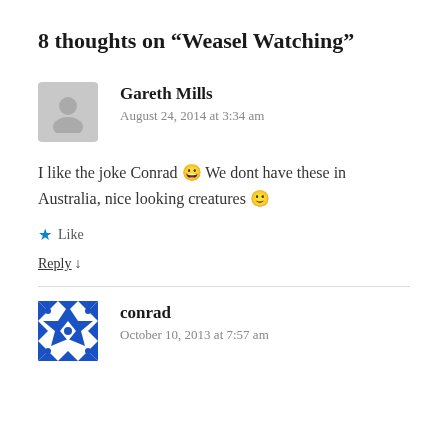8 thoughts on “Weasel Watching”
Gareth Mills
August 24, 2014 at 3:34 am
I like the joke Conrad 😀 We dont have these in Australia, nice looking creatures 🙂
★ Like
Reply ↓
conrad
October 10, 2013 at 7:57 am